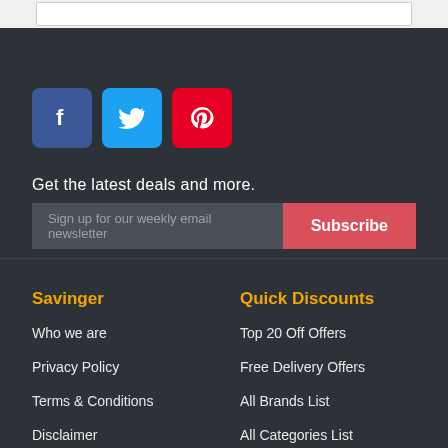[Figure (other): Top white/light gray bar with a white box outline]
[Figure (other): Social media icons: Facebook (blue), Twitter (cyan), Pinterest (red)]
Get the latest deals and more.
Sign up for our weekly email newsletter
Subscribe
Savinger
Quick Discounts
Who we are
Top 20 Off Offers
Privacy Policy
Free Delivery Offers
Terms & Conditions
All Brands List
Disclaimer
All Categories List
FAQ